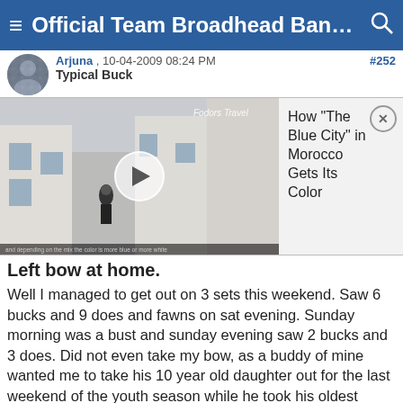≡ Official Team Broadhead Bandit... 🔍
[Figure (screenshot): Forum post avatar thumbnail image of a user, small circular profile picture]
#252
Arjuna , 10-04-2009 08:24 PM
Typical Buck
[Figure (screenshot): Embedded video thumbnail showing a street scene in a blue city (Morocco), with a play button overlay and Fodors Travel branding. Ad panel on the right shows text: How "The Blue City" in Morocco Gets Its Color]
Left bow at home.

Well I managed to get out on 3 sets this weekend. Saw 6 bucks and 9 does and fawns on sat evening. Sunday morning was a bust and sunday evening saw 2 bucks and 3 does. Did not even take my bow, as a buddy of mine wanted me to take his 10 year old daughter out for the last weekend of the youth season while he took his oldest daughter out with her bow.
We had 7 deer at less then 20 yards on sat but she missed a small buck at 13 yards with her muzzleloader. Sunday